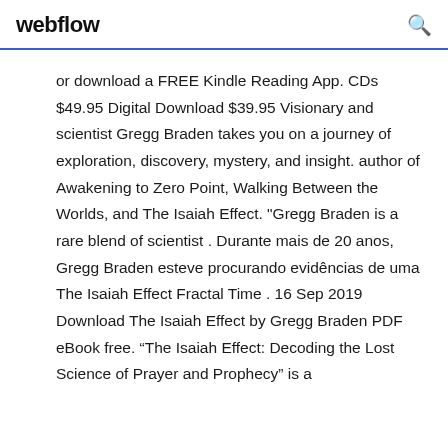webflow
or download a FREE Kindle Reading App. CDs $49.95 Digital Download $39.95 Visionary and scientist Gregg Braden takes you on a journey of exploration, discovery, mystery, and insight. author of Awakening to Zero Point, Walking Between the Worlds, and The Isaiah Effect. "Gregg Braden is a rare blend of scientist . Durante mais de 20 anos, Gregg Braden esteve procurando evidências de uma The Isaiah Effect Fractal Time . 16 Sep 2019 Download The Isaiah Effect by Gregg Braden PDF eBook free. “The Isaiah Effect: Decoding the Lost Science of Prayer and Prophecy” is a